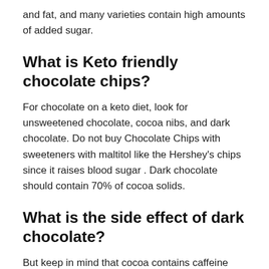and fat, and many varieties contain high amounts of added sugar.
What is Keto friendly chocolate chips?
For chocolate on a keto diet, look for unsweetened chocolate, cocoa nibs, and dark chocolate. Do not buy Chocolate Chips with sweeteners with maltitol like the Hershey's chips since it raises blood sugar . Dark chocolate should contain 70% of cocoa solids.
What is the side effect of dark chocolate?
But keep in mind that cocoa contains caffeine and related chemicals. Eating large amounts...